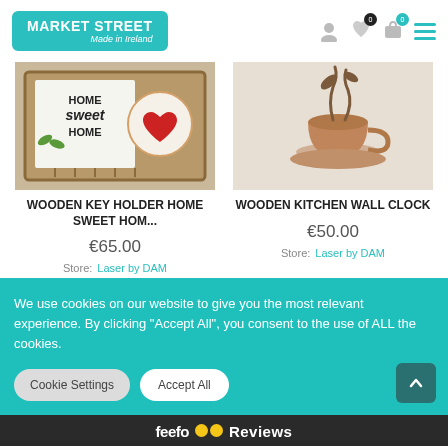[Figure (screenshot): Market Street Made in Ireland logo in teal rounded rectangle]
[Figure (screenshot): Navigation icons: user profile, heart wishlist with badge 0, shopping bag with teal badge 0, hamburger menu in teal]
[Figure (photo): Wooden key holder with 'Home Sweet Home' text and decorative elements]
WOODEN KEY HOLDER HOME SWEET HOM...
€65.00
Store:  Laser by DAM
[Figure (photo): Wooden kitchen wall clock with coffee cup design]
WOODEN KITCHEN WALL CLOCK
€50.00
Store:  Laser by DAM
We use cookies on our website to give you the most relevant experience. By clicking “Accept All”, you consent to the use of ALL the cookies.
Cookie Settings
Accept All
[Figure (logo): Feefo with two yellow circle eyes logo and Reviews text on dark bar]